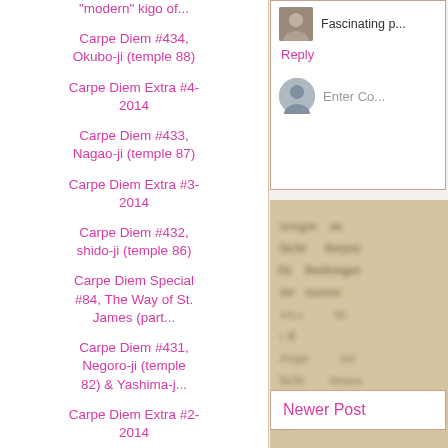"modern" kigo of...
Carpe Diem #434, Okubo-ji (temple 88)
Carpe Diem Extra #4-2014
Carpe Diem #433, Nagao-ji (temple 87)
Carpe Diem Extra #3-2014
Carpe Diem #432, shido-ji (temple 86)
Carpe Diem Special #84, The Way of St. James (part...
Carpe Diem #431, Negoro-ji (temple 82) & Yashima-j...
Carpe Diem Extra #2-2014
Carpe Diem Extra #1-2014, Ghost-Writer
Fascinating p...
Reply
Enter Co...
[Figure (photo): Blurred photo of old printed text/book page, warm sepia tones]
Newer Post